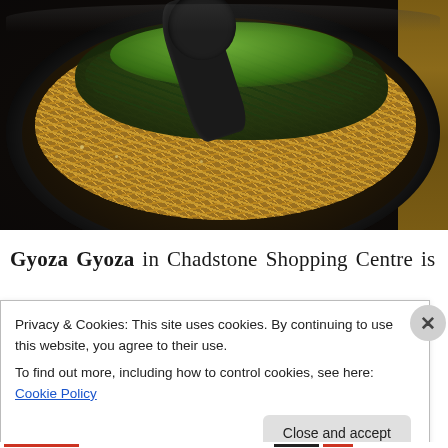[Figure (photo): A black bowl of ramen noodles with seaweed and green onions on top, with a black ladle/spoon, sitting on a wooden surface.]
Gyoza Gyoza in Chadstone Shopping Centre is
Privacy & Cookies: This site uses cookies. By continuing to use this website, you agree to their use.
To find out more, including how to control cookies, see here: Cookie Policy
Close and accept